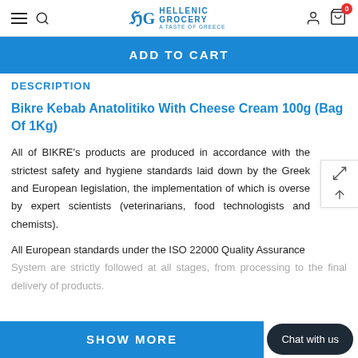Hellenic Grocery — A Taste of Greece
ADD TO CART
DESCRIPTION
Bikre Kebab Anatolitiko With Cheese Cream 100g (Bag Of 1Kg)
All of BIKRE's products are produced in accordance with the strictest safety and hygiene standards laid down by the Greek and European legislation, the implementation of which is overseen by expert scientists (veterinarians, food technologists and chemists).
All European standards under the ISO 22000 Quality Assurance System are strictly followed at all stages, from processing to the final delivery of products.
SHOW MORE
Chat with us